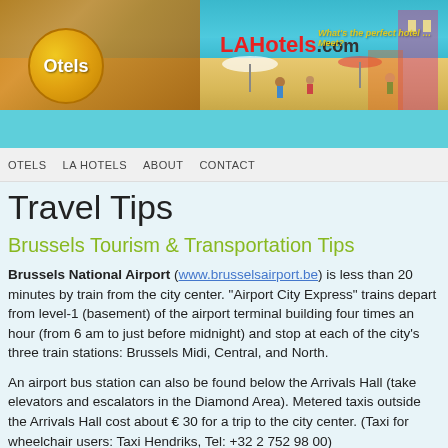[Figure (illustration): Website banner with beach/hotel photo, Otels golden badge, LAHotels.com branding in red, tagline in yellow, and teal sky background]
OTELS   LA HOTELS   ABOUT   CONTACT
Travel Tips
Brussels Tourism & Transportation Tips
Brussels National Airport (www.brusselsairport.be) is less than 20 minutes by train from the city center. "Airport City Express" trains depart from level-1 (basement) of the airport terminal building four times an hour (from 6 am to just before midnight) and stop at each of the city's three train stations: Brussels Midi, Central, and North.
An airport bus station can also be found below the Arrivals Hall (take elevators and escalators in the Diamond Area). Metered taxis outside the Arrivals Hall cost about € 30 for a trip to the city center. (Taxi for wheelchair users: Taxi Hendriks, Tel: +32 2 752 98 00)
Getting Around Brussels … by foot, tram, bus or underground